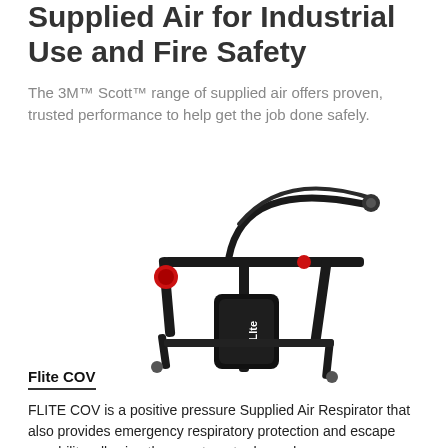Supplied Air for Industrial Use and Fire Safety
The 3M™ Scott™ range of supplied air offers proven, trusted performance to help get the job done safely.
[Figure (photo): Photo of the Flite COV positive pressure Supplied Air Respirator device — a black harness system with straps, a small cylinder labeled 'FLlte', hoses, connectors including a red connector, and adjustment hardware.]
Flite COV
FLITE COV is a positive pressure Supplied Air Respirator that also provides emergency respiratory protection and escape capability, allowing the user to enter hazardous